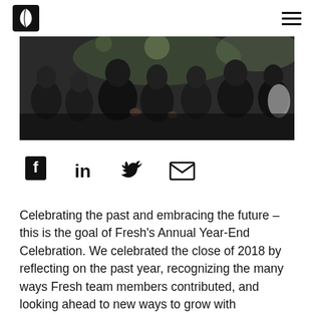Fresh logo and navigation menu
[Figure (photo): Crowd of people at an indoor event/party, clapping and celebrating, photographed in low light]
[Figure (infographic): Social sharing icons: Facebook, LinkedIn, Twitter, Email]
Celebrating the past and embracing the future – this is the goal of Fresh's Annual Year-End Celebration. We celebrated the close of 2018 by reflecting on the past year, recognizing the many ways Fresh team members contributed, and looking ahead to new ways to grow with